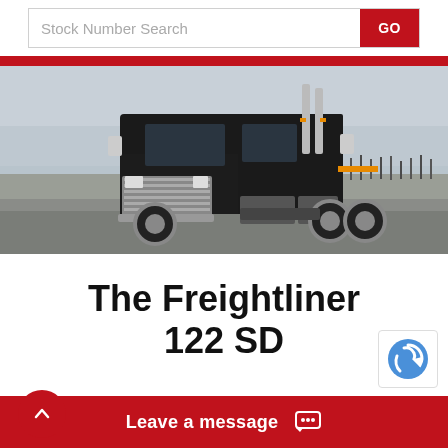Stock Number Search GO
[Figure (photo): A large black Freightliner semi-truck (day cab/sleeper) photographed on a paved lot with bare winter trees and overcast sky in the background.]
The Freightliner 122 SD
Leave a message